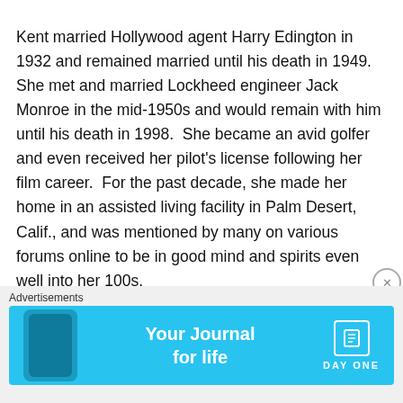Kent married Hollywood agent Harry Edington in 1932 and remained married until his death in 1949.  She met and married Lockheed engineer Jack Monroe in the mid-1950s and would remain with him until his death in 1998.  She became an avid golfer and even received her pilot's license following her film career.  For the past decade, she made her home in an assisted living facility in Palm Desert, Calif., and was mentioned by many on various forums online to be in good mind and spirits even well into her 100s.
Never glamorizing her career or having much of an interest in the past, Kent rarely gave interviews or even
[Figure (other): Advertisement banner for Day One journal app with cyan/blue background, phone image on left, 'Your Journal for life' text in center, and Day One logo on right]